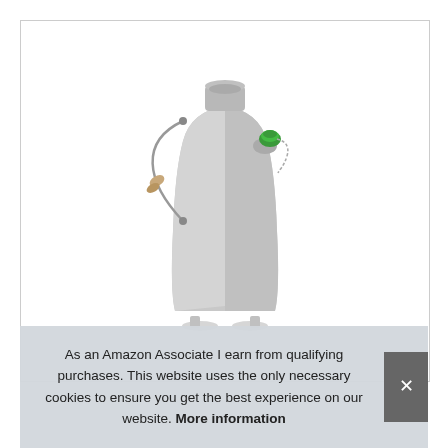[Figure (photo): A silver/grey aluminum camping kettle or wood-burning stove with a green stopper/cap on a side spout, a wire bail handle with a wooden grip, and small feet at the base. The product is shown on a white background.]
As an Amazon Associate I earn from qualifying purchases. This website uses the only necessary cookies to ensure you get the best experience on our website. More information